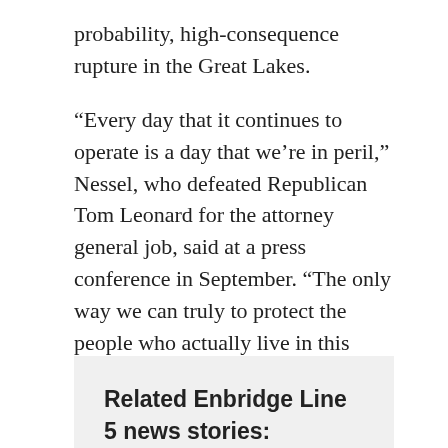probability, high-consequence rupture in the Great Lakes.
“Every day that it continues to operate is a day that we’re in peril,” Nessel, who defeated Republican Tom Leonard for the attorney general job, said at a press conference in September. “The only way we can truly to protect the people who actually live in this state is to — firstly shut down Line 5 and shut it down as quickly as possible.”
Whitmer, who defeated Attorney General Bill Schuette, promised legal action “on the day I take office.”
Related Enbridge Line 5 news stories: